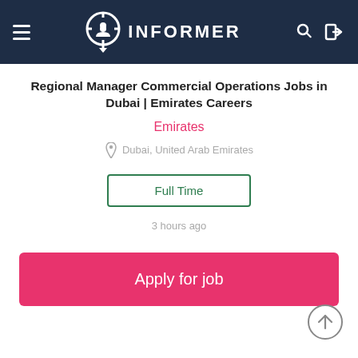INFORMER
Regional Manager Commercial Operations Jobs in Dubai | Emirates Careers
Emirates
Dubai, United Arab Emirates
Full Time
3 hours ago
Apply for job